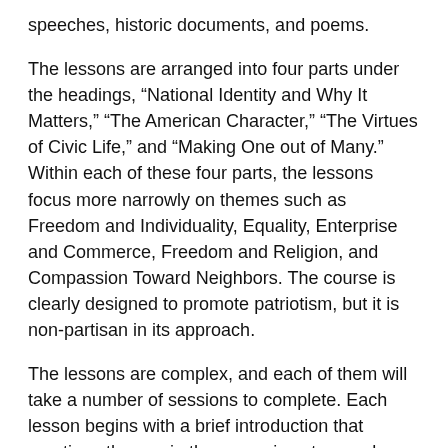speeches, historic documents, and poems.
The lessons are arranged into four parts under the headings, “National Identity and Why It Matters,” “The American Character,” “The Virtues of Civic Life,” and “Making One out of Many.” Within each of these four parts, the lessons focus more narrowly on themes such as Freedom and Individuality, Equality, Enterprise and Commerce, Freedom and Religion, and Compassion Toward Neighbors. The course is clearly designed to promote patriotism, but it is non-partisan in its approach.
The lessons are complex, and each of them will take a number of sessions to complete. Each lesson begins with a brief introduction that mentions themes in the upcoming story and poses questions that encourage students to pay attention to key ideas. For instance, the story “Harrison Bergeron” by Kurt Vonnegut Jr. is prefaced by this introduction:
Central to the American creed is the principle of equality, beginning with the notion that all human beings possess